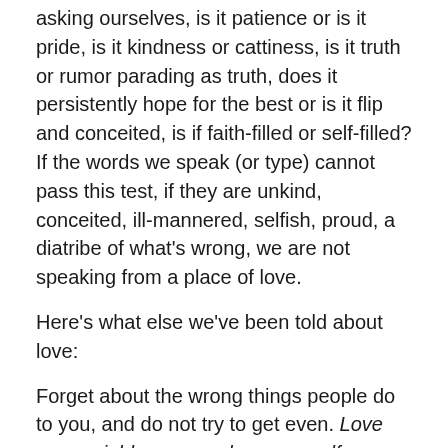asking ourselves, is it patience or is it pride, is it kindness or cattiness, is it truth or rumor parading as truth, does it persistently hope for the best or is it flip and conceited, is if faith-filled or self-filled? If the words we speak (or type) cannot pass this test, if they are unkind, conceited, ill-mannered, selfish, proud, a diatribe of what's wrong, we are not speaking from a place of love.
Here's what else we've been told about love:
Forget about the wrong things people do to you, and do not try to get even. Love your neighbor as you love yourself. Leviticus 19:18
But I say to you, love your enemies. Pray for those who hurt you. If you do this, you will be true children of your Father in heaven. Matthew 5:44-45